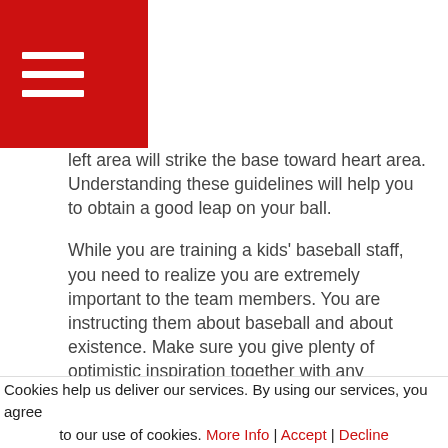[Figure (other): Red square hamburger menu icon with three white horizontal lines]
left area will strike the base toward heart area. Understanding these guidelines will help you to obtain a good leap on your ball.
While you are training a kids' baseball staff, you need to realize you are extremely important to the team members. You are instructing them about baseball and about existence. Make sure you give plenty of optimistic inspiration together with any modification. Keep in mind that your gamers can certainly make errors and that reassurance will get a good deal far better functionality out of them than judgments. Make the objectives to your downline realistic. Always existing an optimistic and upbeat demeanor.
Cookies help us deliver our services. By using our services, you agree to our use of cookies. More Info | Accept | Decline